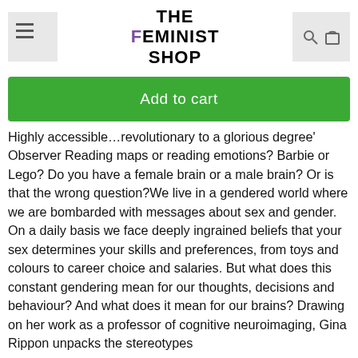THE FEMINIST SHOP
Add to cart
Highly accessible…revolutionary to a glorious degree' Observer Reading maps or reading emotions? Barbie or Lego? Do you have a female brain or a male brain? Or is that the wrong question?We live in a gendered world where we are bombarded with messages about sex and gender. On a daily basis we face deeply ingrained beliefs that your sex determines your skills and preferences, from toys and colours to career choice and salaries. But what does this constant gendering mean for our thoughts, decisions and behaviour? And what does it mean for our brains? Drawing on her work as a professor of cognitive neuroimaging, Gina Rippon unpacks the stereotypes